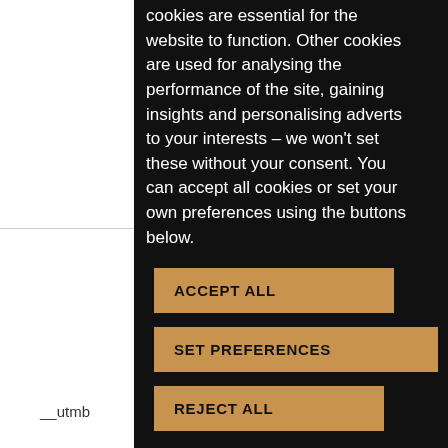cookies are essential for the website to function. Other cookies are used for analysing the performance of the site, gaining insights and personalising adverts to your interests – we won't set these without your consent. You can accept all cookies or set your own preferences using the buttons below.
ACCEPT ALL
SET PREFERENCES
REJECT ALL
__utmb